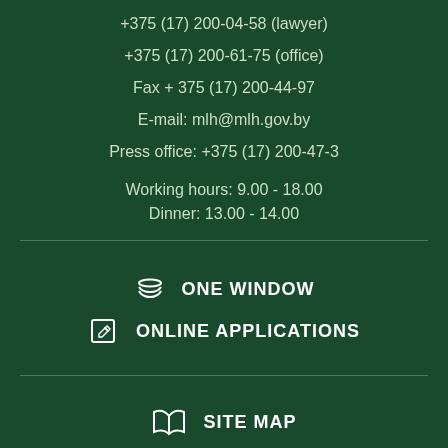+375 (17) 200-04-58 (lawyer)
+375 (17) 200-61-75 (office)
Fax + 375 (17) 200-44-97
E-mail: mlh@mlh.gov.by
Press office: +375 (17) 200-47-3
Working hours: 9.00 - 18.00
Dinner: 13.00 - 14.00
ONE WINDOW
ONLINE APPLICATIONS
SITE MAP
© 2022, MINISTRY OF FORESTRY OF THE REPUBLIC OF BELARUS
SITE DEVELOPMENT: "GENSHTAB" AGENCY